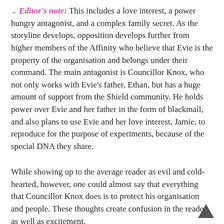Editor's note: This includes a love interest, a power hungry antagonist, and a complex family secret. As the storyline develops, opposition develops further from higher members of the Affinity who believe that Evie is the property of the organisation and belongs under their command. The main antagonist is Councillor Knox, who not only works with Evie's father, Ethan, but has a huge amount of support from the Shield community. He holds power over Evie and her father in the form of blackmail, and also plans to use Evie and her love interest, Jamie, to reproduce for the purpose of experiments, because of the special DNA they share.
While showing up to the average reader as evil and cold-hearted, however, one could almost say that everything that Councillor Knox does is to protect his organisation and people. These thoughts create confusion in the reader, as well as excitement.